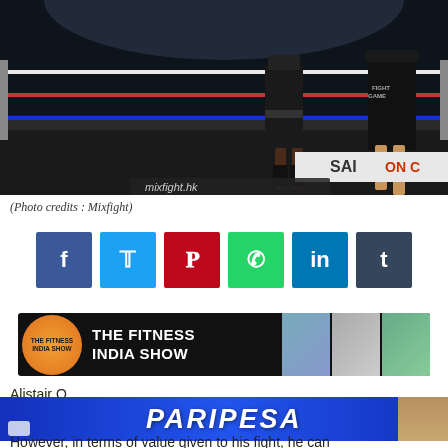[Figure (photo): Boxing ring photo showing two fighters' legs and lower bodies, with ring ropes and audience visible. Banner showing 'SAI ON C' visible in background.]
(Photo credits : Mixfight)
[Figure (infographic): Social media sharing buttons row: Facebook (blue), Twitter (cyan), Pinterest (red), WhatsApp (green), LinkedIn (teal), Tumblr (dark blue-grey)]
[Figure (photo): The Fitness India Show advertisement banner with logo, bold text, and fitness activity photos]
[Figure (photo): Paripesa advertisement banner in blue with italic white text and a woman figure]
However, in terms of value given to his fight, he can